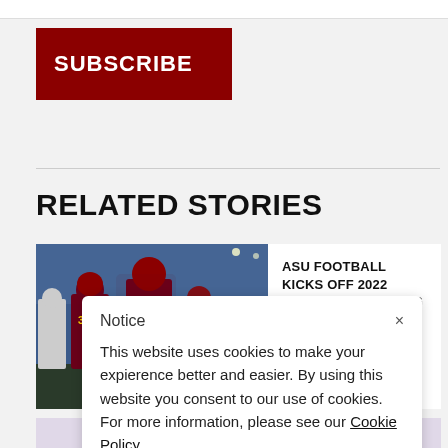SUBSCRIBE
RELATED STORIES
[Figure (photo): ASU football players in maroon and gold uniforms on a stadium field, with player number 38 and 11 visible]
ASU FOOTBALL KICKS OFF 2022 SEASON FOLLOWING MASSIVE ROSTER CHANGES
Notice
This website uses cookies to make your expierence better and easier. By using this website you consent to our use of cookies. For more information, please see our Cookie Policy.